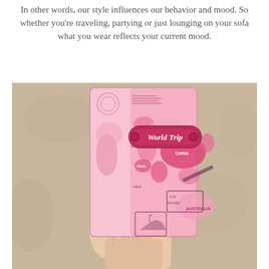In other words, our style influences our behavior and mood. So whether you're traveling, partying or just lounging on your sofa what you wear reflects your current mood.
[Figure (photo): A hand holding a pink passport holder/cover with a world map design and a raised label reading 'World Trip' in the center. The cover features pink tones showing continents including China, Iran, India, and Australia with decorative travel stamps.]